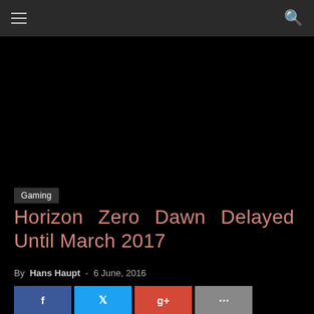Navigation bar with hamburger menu and search icon
[Figure (photo): Dark/black hero image area for article]
Gaming
Horizon Zero Dawn Delayed Until March 2017
By Hans Haupt - 6 June, 2016
[Figure (other): Chevron/down arrow indicating scroll]
[Figure (other): Social share buttons: Facebook, Twitter, Google+, More]